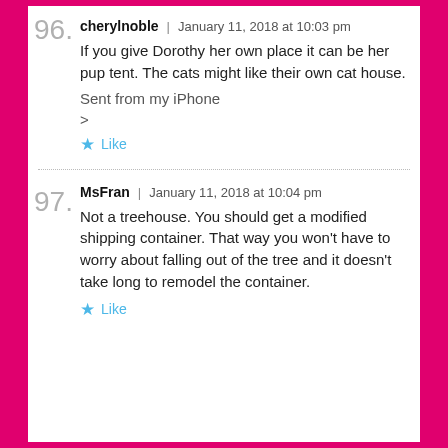96. cherylnoble | January 11, 2018 at 10:03 pm
If you give Dorothy her own place it can be her pup tent. The cats might like their own cat house.
Sent from my iPhone
>
Like
97. MsFran | January 11, 2018 at 10:04 pm
Not a treehouse. You should get a modified shipping container. That way you won't have to worry about falling out of the tree and it doesn't take long to remodel the container.
Like